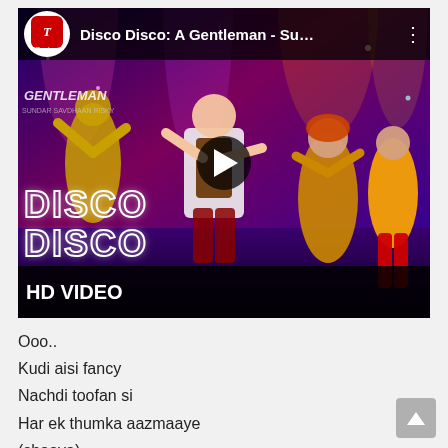[Figure (screenshot): YouTube video thumbnail for 'Disco Disco: A Gentleman - Su...' showing dancers in colorful disco costumes on a stage. The video has a play button overlay, T-Series logo, and 'HD VIDEO' text at the bottom. The text 'DISCO DISCO' is overlaid on the thumbnail.]
Ooo..
Kudi aisi fancy
Nachdi toofan si
Har ek thumka aazmaaye
(shaava)